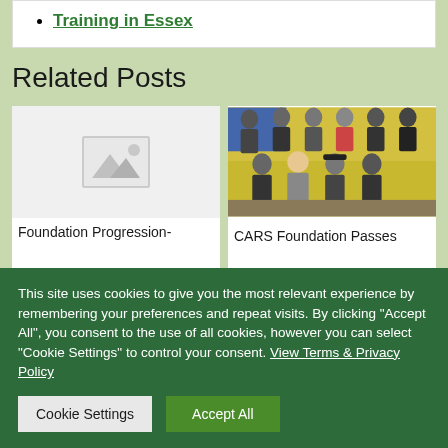Training in Essex
Related Posts
[Figure (photo): Placeholder image with mountain/landscape icon indicating no image available]
Foundation Progression-
[Figure (photo): Group photo of approximately 10 people seated and standing in front of a yellow wall in a classroom or training setting]
CARS Foundation Passes
This site uses cookies to give you the most relevant experience by remembering your preferences and repeat visits. By clicking "Accept All", you consent to the use of all cookies, however you can select "Cookie Settings" to control your consent. View Terms & Privacy Policy
Cookie Settings | Accept All